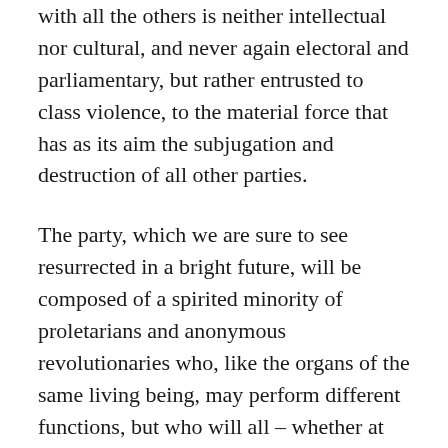with all the others is neither intellectual nor cultural, and never again electoral and parliamentary, but rather entrusted to class violence, to the material force that has as its aim the subjugation and destruction of all other parties.
The party, which we are sure to see resurrected in a bright future, will be composed of a spirited minority of proletarians and anonymous revolutionaries who, like the organs of the same living being, may perform different functions, but who will all – whether at the center or at the base – be bound by an inflexible rule that will override everything else: the rule of deferring to the theory, of continuity and rigor in organization, of a precise method for strategic action. The acceptable range of possibilities for such action will be drawn – and will in the same manner become binding for all – from the terrible historical lesson of the devastation